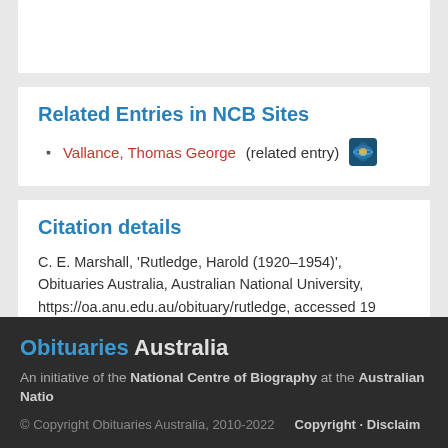Related Entries in NCB Sites
Vallance, Thomas George (related entry)
Citation details
C. E. Marshall, 'Rutledge, Harold (1920–1954)', Obituaries Australia, Australian National University, https://oa.anu.edu.au/obituary/rutledge, accessed 19 August 2022.
Obituaries Australia — An initiative of the National Centre of Biography at the Australian National University — © Copyright Obituaries Australia, 2010-2022 — Copyright · Disclaimer